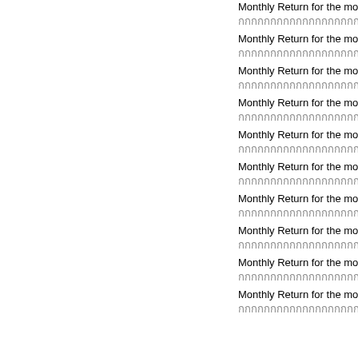Monthly Return for the month ended 31 De...
กกกกกกกกกกกกกกกกกกกก (Chi)
Monthly Return for the month ended 30 No...
กกกกกกกกกกกกกกกกกกกก (Chi)
Monthly Return for the month ended 31 Oc...
กกกกกกกกกกกกกกกกกกกก (Chi)
Monthly Return for the month ended 30 Se...
กกกกกกกกกกกกกกกกกกกก (Chi)
Monthly Return for the month ended 31 Au...
กกกกกกกกกกกกกกกกกกกก (Chi)
Monthly Return for the month ended 31 Jul...
กกกกกกกกกกกกกกกกกกกก (Chi)
Monthly Return for the month ended 30 Ju...
กกกกกกกกกกกกกกกกกกกก (Chi)
Monthly Return for the month ended 31 Ma...
กกกกกกกกกกกกกกกกกกกก (Chi)
Monthly Return for the month ended 30 Ap...
กกกกกกกกกกกกกกกกกกกก (Chi)
Monthly Return for the month ended 31 Ma...
กกกกกกกกกกกกกกกกกกกก (Chi)